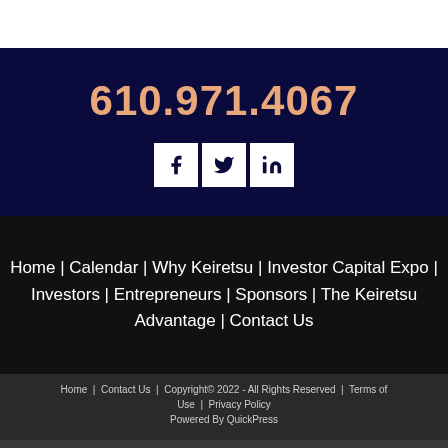610.971.4067
[Figure (infographic): Social media icons: Facebook, Twitter, LinkedIn in white boxes on navy background]
Home | Calendar | Why Keiretsu | Investor Capital Expo | Investors | Entrepreneurs | Sponsors | The Keiretsu Advantage | Contact Us
Home | Contact Us | Copyright© 2022 - All Rights Reserved | Terms of Use | Privacy Policy | Powered By QuickPress
[Figure (infographic): Mobile navigation bar with Menu, Login, Desktop, Print, Scroll up buttons]